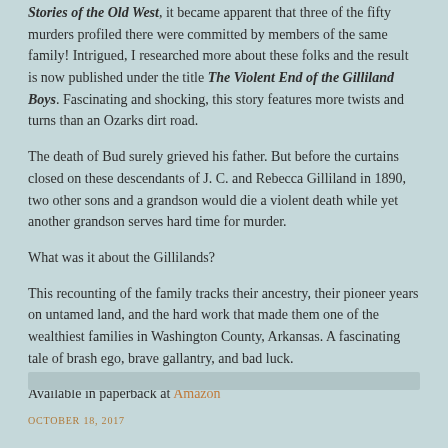Stories of the Old West, it became apparent that three of the fifty murders profiled there were committed by members of the same family! Intrigued, I researched more about these folks and the result is now published under the title The Violent End of the Gilliland Boys. Fascinating and shocking, this story features more twists and turns than an Ozarks dirt road.
The death of Bud surely grieved his father. But before the curtains closed on these descendants of J. C. and Rebecca Gilliland in 1890, two other sons and a grandson would die a violent death while yet another grandson serves hard time for murder.
What was it about the Gillilands?
This recounting of the family tracks their ancestry, their pioneer years on untamed land, and the hard work that made them one of the wealthiest families in Washington County, Arkansas. A fascinating tale of brash ego, brave gallantry, and bad luck.
Available in paperback at Amazon
OCTOBER 18, 2017